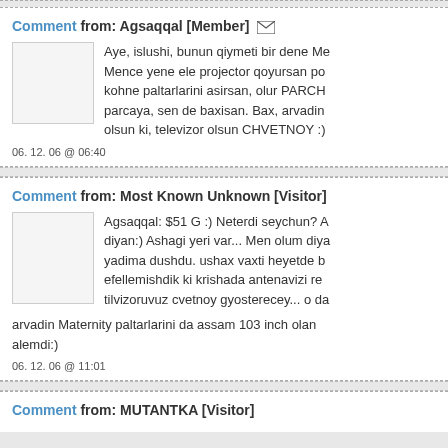Comment from: Agsaqqal [Member] ✉
Aye, islushi, bunun qiymeti bir dene Me Mence yene ele projector qoyursan po kohne paltarlarini asirsan, olur PARCH parcaya, sen de baxisan. Bax, arvadin olsun ki, televizor olsun CHVETNOY :)
06. 12. 06 @ 06:40
Comment from: Most Known Unknown [Visitor]
Agsaqqal: $51 G :) Neterdi seychun? A diyan:) Ashagi yeri var... Men olum diya yadima dushdu. ushax vaxti heyetde b efellemishdik ki krishada antenavizi re tilvizoruvuz cvetnoy gyosterecey... o da arvadin Maternity paltarlarini da assam 103 inch olan alemdi:)
06. 12. 06 @ 11:01
Comment from: MUTANTKA [Visitor]